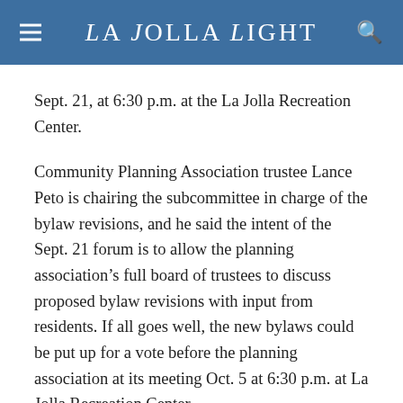La Jolla Light
Sept. 21, at 6:30 p.m. at the La Jolla Recreation Center.
Community Planning Association trustee Lance Peto is chairing the subcommittee in charge of the bylaw revisions, and he said the intent of the Sept. 21 forum is to allow the planning association’s full board of trustees to discuss proposed bylaw revisions with input from residents. If all goes well, the new bylaws could be put up for a vote before the planning association at its meeting Oct. 5 at 6:30 p.m. at La Jolla Recreation Center.
A draft of bylaw revisions that have already been